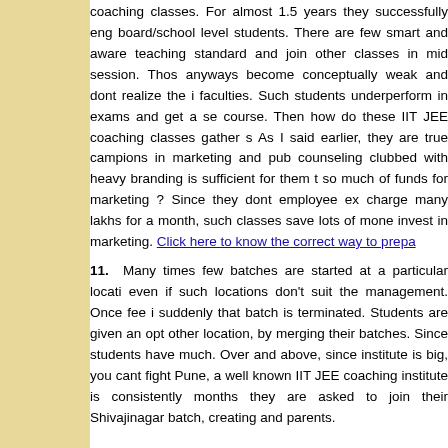coaching classes. For almost 1.5 years they successfully eng board/school level students. There are few smart and aware teaching standard and join other classes in mid session. Thos anyways become conceptually weak and dont realize the i faculties. Such students underperform in exams and get a se course. Then how do these IIT JEE coaching classes gather s As I said earlier, they are true campions in marketing and pub counseling clubbed with heavy branding is sufficient for them t so much of funds for marketing ? Since they dont employee ex charge many lakhs for a month, such classes save lots of mone invest in marketing. Click here to know the correct way to prepa
11.  Many times few batches are started at a particular locati even if such locations don't suit the management. Once fee i suddenly that batch is terminated. Students are given an opt other location, by merging their batches. Since students have much. Over and above, since institute is big, you cant fight Pune, a well known IIT JEE coaching institute is consistently months they are asked to join their Shivajinagar batch, creating and parents.
12.  Try to track the best faculties available. There are few students usually talk very good about them and these faculties because of their huge teaching experience and indepth knowle